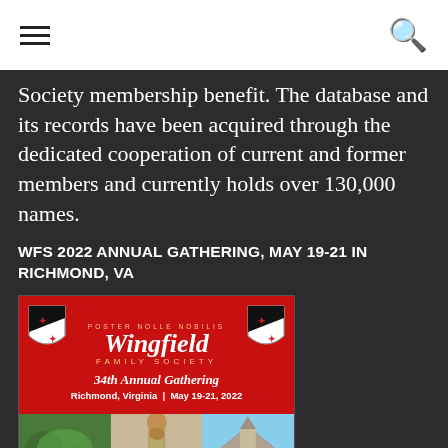[Navigation bar with hamburger menu and search icon]
Society membership benefit. The database and its records have been acquired through the dedicated cooperation of current and former members and currently holds over 130,000 names.
WFS 2022 ANNUAL GATHERING, MAY 19-21 IN RICHMOND, VA
[Figure (illustration): Wingfield Family Society 34th Annual Gathering event poster. Red banner with two heraldic shields (black and white diagonal with red symbols), italic text 'Wingfield Family Society', subtitle '34th Annual Gathering', details 'Richmond, Virginia | May 19-21, 2022'. Bottom section shows three photographic panels: green trees/aerial view, a portrait of a historical figure and monument, and a church building with blue sky.]